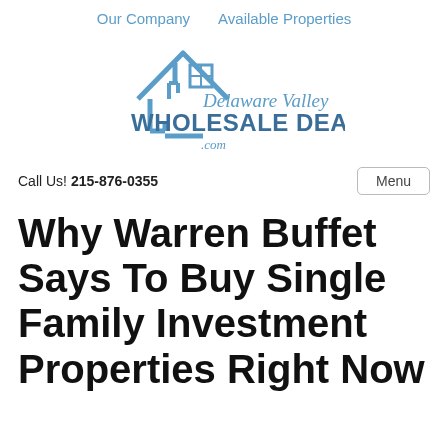Our Company   Available Properties
[Figure (logo): Delaware Valley Wholesale Deals .com logo with house outline icon in blue and cursive/bold text]
Call Us! 215-876-0355
Menu
Why Warren Buffet Says To Buy Single Family Investment Properties Right Now